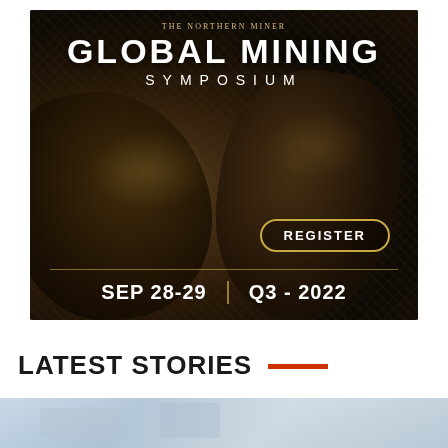[Figure (infographic): The Northern Miner Global Mining Symposium advertisement. Dark sepia-toned background with closeup of mining gloves/hands. Text overlay: 'THE NORTHERN MINER' at top, 'GLOBAL MINING SYMPOSIUM' in large bold white text, 'REGISTER' button in gold outline, 'SEP 28-29 | Q3 - 2022' at bottom.]
LATEST STORIES
[Figure (photo): Partial photo visible at the bottom of the page, appears to be a light blue/grey toned industrial or mining scene.]